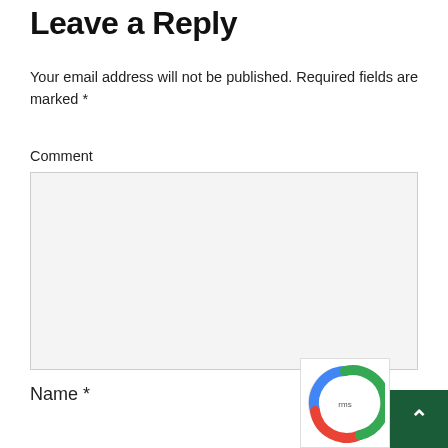Leave a Reply
Your email address will not be published. Required fields are marked *
Comment
[Figure (other): Empty comment text area input field with light grey background]
Name *
[Figure (other): reCAPTCHA badge widget and dark green scroll-to-top button with upward arrow in bottom-right corner]